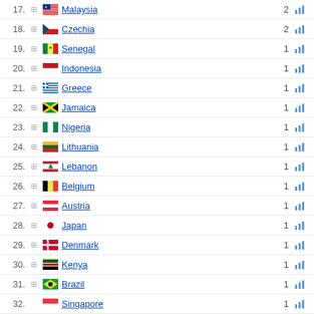17. Malaysia 2
18. Czechia 2
19. Senegal 1
20. Indonesia 1
21. Greece 1
22. Jamaica 1
23. Nigeria 1
24. Lithuania 1
25. Lebanon 1
26. Belgium 1
27. Austria 1
28. Japan 1
29. Denmark 1
30. Kenya 1
31. Brazil 1
32. Singapore 1
33. Thailand 1
34. Togo 1
35. Portugal 1
36. Pakistan 1
37. Palestinian Territory 1